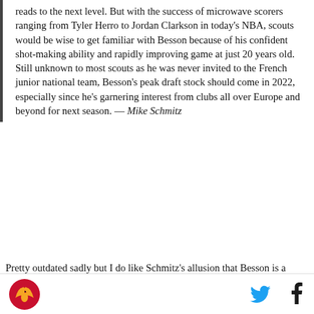reads to the next level. But with the success of microwave scorers ranging from Tyler Herro to Jordan Clarkson in today's NBA, scouts would be wise to get familiar with Besson because of his confident shot-making ability and rapidly improving game at just 20 years old. Still unknown to most scouts as he was never invited to the French junior national team, Besson's peak draft stock should come in 2022, especially since he's garnering interest from clubs all over Europe and beyond for next season. — Mike Schmitz
Pretty outdated sadly but I do like Schmitz's allusion that Besson is a 'microwave scorer,' and I certainly think that this is describes Besson to this day
[Figure (logo): Website logo - bird/phoenix emblem in red and gold]
[Figure (logo): Twitter bird icon in light blue]
[Figure (logo): Facebook f icon in dark blue/black]